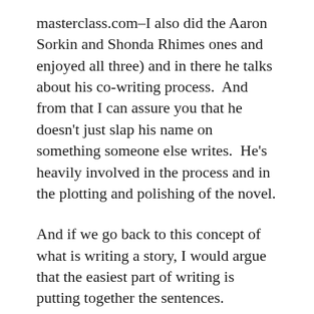masterclass.com–I also did the Aaron Sorkin and Shonda Rhimes ones and enjoyed all three) and in there he talks about his co-writing process.  And from that I can assure you that he doesn't just slap his name on something someone else writes.  He's heavily involved in the process and in the plotting and polishing of the novel.
And if we go back to this concept of what is writing a story, I would argue that the easiest part of writing is putting together the sentences.  Finding a way to make those sentences work together to create an experience that pulls a reader through the book is the challenge. Having something